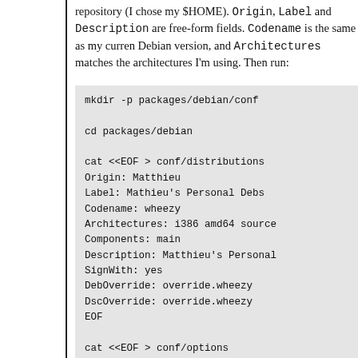repository (I chose my $HOME). Origin, Label and Description are free-form fields. Codename is the same as my current Debian version, and Architectures matches the architectures I'm using. Then run: